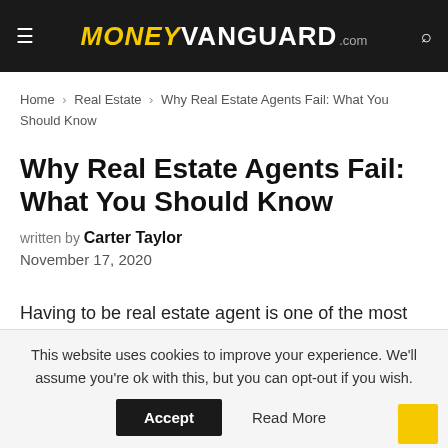MoneyVanguard.com
Home > Real Estate > Why Real Estate Agents Fail: What You Should Know
Why Real Estate Agents Fail: What You Should Know
written by Carter Taylor
November 17, 2020
Having to be real estate agent is one of the most
This website uses cookies to improve your experience. We'll assume you're ok with this, but you can opt-out if you wish.